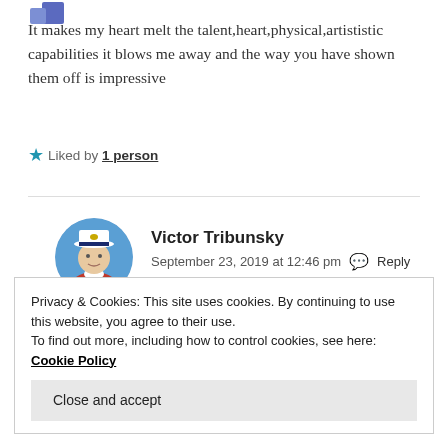[Figure (logo): Partial logo in top-left corner, blue square icon]
It makes my heart melt the talent,heart,physical,artististic capabilities it blows me away and the way you have shown them off is impressive
★ Liked by 1 person
Victor Tribunsky
September 23, 2019 at 12:46 pm  Reply
[Figure (photo): Circular avatar photo of Victor Tribunsky, man in white captain's hat and red shirt, blue sky background]
Privacy & Cookies: This site uses cookies. By continuing to use this website, you agree to their use.
To find out more, including how to control cookies, see here: Cookie Policy
Close and accept